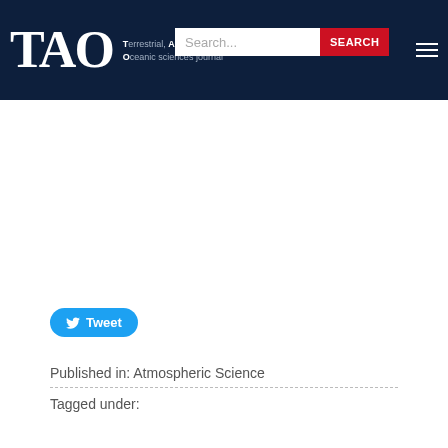TAO — Terrestrial, Atmospheric and Oceanic sciences journal
[Figure (logo): TAO journal logo with search bar and search button on dark navy header]
Tweet
Published in: Atmospheric Science
Tagged under: